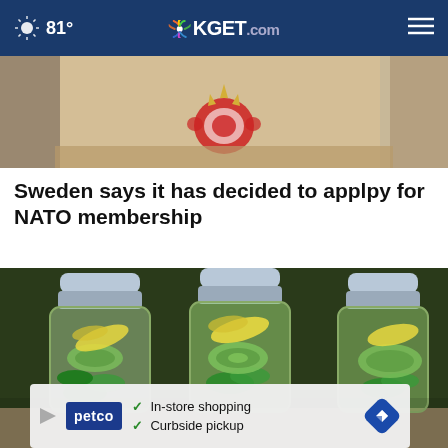81° KGET.com
[Figure (photo): Partial view of a building or room interior, showing wooden panel and decorative element (crown/emblem), cropped at top]
Sweden says it has decided to applpy for NATO membership
[Figure (photo): Three large plastic bottles filled with green infused water containing cucumber slices and lemon pieces, sitting on a countertop]
[Figure (screenshot): Petco advertisement overlay showing 'In-store shopping' and 'Curbside pickup' with checkmarks, petco logo in dark blue, and a diamond navigation icon]